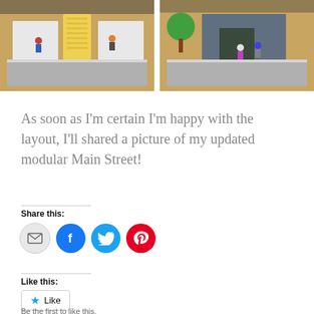[Figure (photo): Two side-by-side photos of LEGO modular building scenes with minifigures on a tan/orange surface background]
As soon as I'm certain I'm happy with the layout, I'll shared a picture of my updated modular Main Street!
Share this:
[Figure (infographic): Row of four social sharing icon buttons: email (gray), Facebook (blue), Twitter (cyan), Pinterest (red)]
Like this:
[Figure (infographic): Like button with blue star icon and 'Like' text]
Be the first to like this.